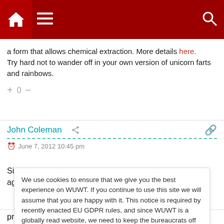Navigation bar with home, menu, and search icons
a form that allows chemical extraction. More details here. Try hard not to wander off in your own version of unicorn farts and rainbows.
+ 0 −
John Coleman   June 7, 2012 10:45 pm
Since doing my first Special Report on Thorium a month ago,
We use cookies to ensure that we give you the best experience on WUWT. If you continue to use this site we will assume that you are happy with it. This notice is required by recently enacted EU GDPR rules, and since WUWT is a globally read website, we need to keep the bureaucrats off our case! Cookie Policy
proposals is better.